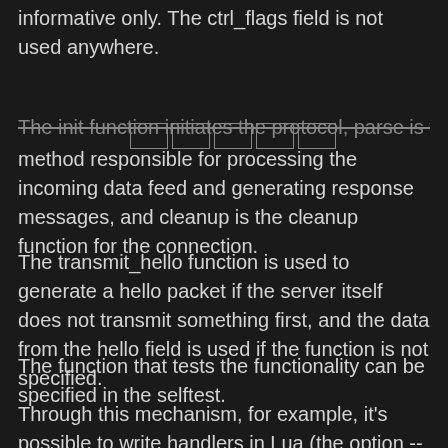informative only. The ctrl_flags field is not used anywhere.
The init function initiates the protocol, parse is the method responsible for processing the incoming data feed and generating response messages, and cleanup is the cleanup function for the connection.
The transmit_hello function is used to generate a hello packet if the server itself does not transmit something first, and the data from the hello field is used if the function is not specified.
The function that tests the functionality can be specified in the selftest.
Through this mechanism, for example, it's possible to write handlers in Lua (the option --script). However, we